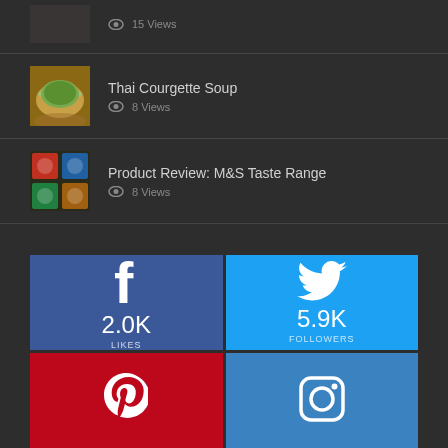15 Views
Thai Courgette Soup
8 Views
Product Review: M&S Taste Range
8 Views
[Figure (infographic): Social media stats grid: Facebook 2.0K Likes (blue tile), Twitter 5.9K Followers (light blue tile), Pinterest (red tile, partial), Instagram (blue tile, partial)]